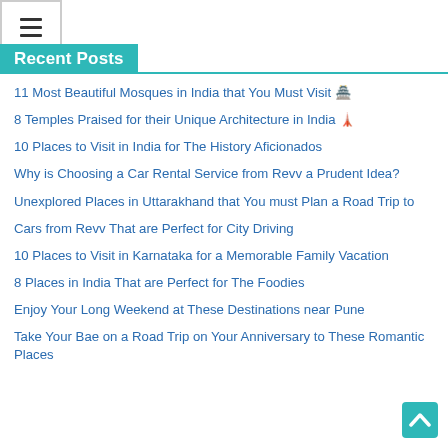☰ (hamburger menu icon)
Recent Posts
11 Most Beautiful Mosques in India that You Must Visit 🏯
8 Temples Praised for their Unique Architecture in India 🗼
10 Places to Visit in India for The History Aficionados
Why is Choosing a Car Rental Service from Revv a Prudent Idea?
Unexplored Places in Uttarakhand that You must Plan a Road Trip to
Cars from Revv That are Perfect for City Driving
10 Places to Visit in Karnataka for a Memorable Family Vacation
8 Places in India That are Perfect for The Foodies
Enjoy Your Long Weekend at These Destinations near Pune
Take Your Bae on a Road Trip on Your Anniversary to These Romantic Places